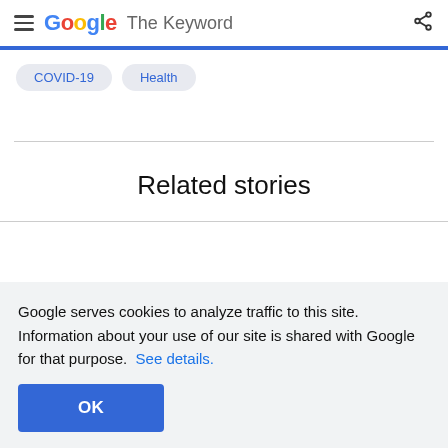Google The Keyword
COVID-19
Health
Related stories
Google serves cookies to analyze traffic to this site. Information about your use of our site is shared with Google for that purpose. See details.